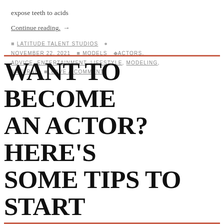expose teeth to acids
Continue reading. →
👤 LATITUDE TALENT STUDIOS  🕐 NOVEMBER 22, 2021  📁 MODELS  🏷 ACTORS, ADVICE, ENTERTAINMENT, LIFESTYLE, MODELING, NATURAL  💬 LEAVE A COMMENT
WANT TO BECOME AN ACTOR? HERE'S SOME TIPS TO START